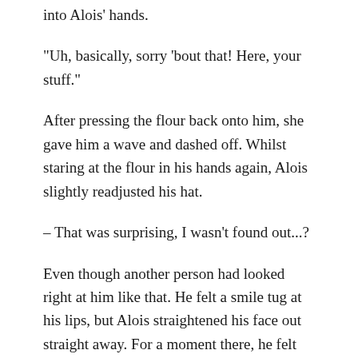into Alois' hands.
“Uh, basically, sorry ‘bout that! Here, your stuff.”
After pressing the flour back onto him, she gave him a wave and dashed off. Whilst staring at the flour in his hands again, Alois slightly readjusted his hat.
– That was surprising, I wasn’t found out...?
Even though another person had looked right at him like that. He felt a smile tug at his lips, but Alois straightened his face out straight away. For a moment there, he felt himself getting sucked into Diana’s idea of ‘fun’.